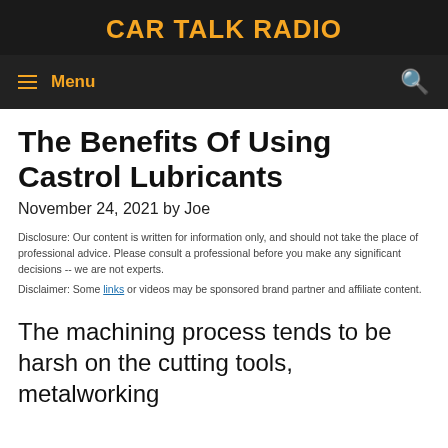CAR TALK RADIO
The Benefits Of Using Castrol Lubricants
November 24, 2021 by Joe
Disclosure: Our content is written for information only, and should not take the place of professional advice. Please consult a professional before you make any significant decisions -- we are not experts.
Disclaimer: Some links or videos may be sponsored brand partner and affiliate content.
The machining process tends to be harsh on the cutting tools, metalworking